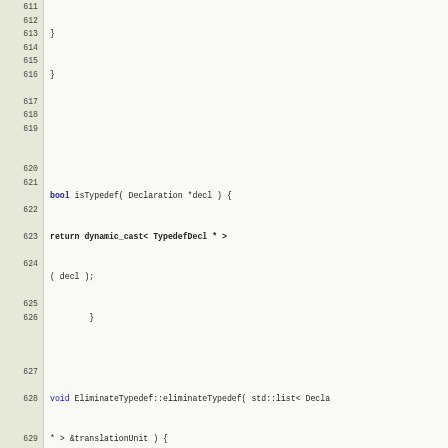[Figure (screenshot): Source code listing showing C++ code for EliminateTypedef class, lines 611-630, with line numbers on left and syntax-highlighted code on right]